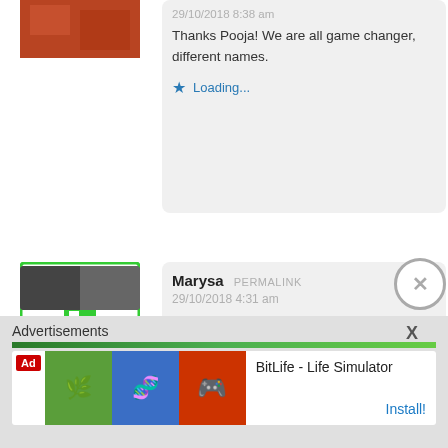Thanks Pooja! We are all game changer, different names.
Loading...
[Figure (illustration): Green and white mosaic/geometric avatar pattern for Marysa]
Marysa PERMALINK
29/10/2018 4:31 am
These are great thoughts and a great way to kick off a Mon... making our lives the way we want it to be and having the pe...
Loading...
Advertisements
[Figure (screenshot): BitLife - Life Simulator advertisement with Ad badge and Install button]